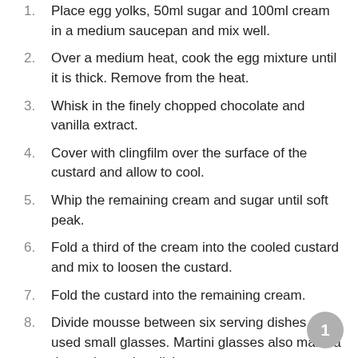1. Place egg yolks, 50ml sugar and 100ml cream in a medium saucepan and mix well.
2. Over a medium heat, cook the egg mixture until it is thick. Remove from the heat.
3. Whisk in the finely chopped chocolate and vanilla extract.
4. Cover with clingfilm over the surface of the custard and allow to cool.
5. Whip the remaining cream and sugar until soft peak.
6. Fold a third of the cream into the cooled custard and mix to loosen the custard.
7. Fold the custard into the remaining cream.
8. Divide mousse between six serving dishes, I used small glasses. Martini glasses also make a dramatic serving dish.
9. Place in the fridge until serving.
Tuiles: